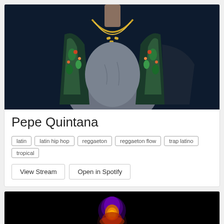[Figure (photo): Photo of Pepe Quintana wearing a floral jacket and gold chain necklace against a dark navy blue background]
Pepe Quintana
latin
latin hip hop
reggaeton
reggaeton flow
trap latino
tropical
View Stream   Open in Spotify
[Figure (photo): Partial photo of another artist with purple/blue hair against a dark background, cropped at bottom of page]